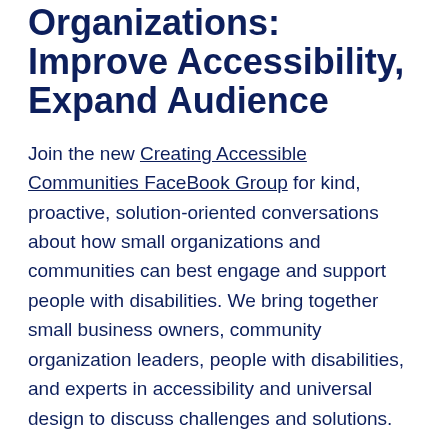Organizations: Improve Accessibility, Expand Audience
Join the new Creating Accessible Communities FaceBook Group for kind, proactive, solution-oriented conversations about how small organizations and communities can best engage and support people with disabilities. We bring together small business owners, community organization leaders, people with disabilities, and experts in accessibility and universal design to discuss challenges and solutions.